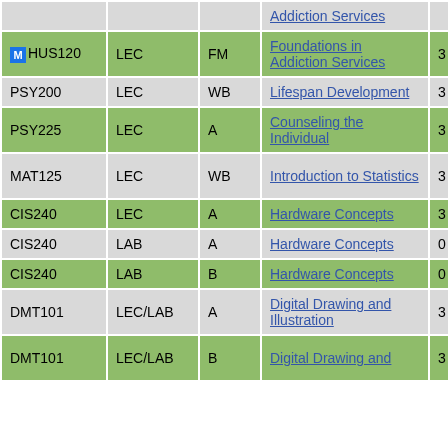| Course | Type | Sec | Course Name | Cr | Instructor |
| --- | --- | --- | --- | --- | --- |
|  |  |  | Addiction Services |  |  |
| HUS120 | LEC | FM | Foundations in Addiction Services | 3 | Lindh, Julie |
| PSY200 | LEC | WB | Lifespan Development | 3 | Lindh, Julie |
| PSY225 | LEC | A | Counseling the Individual | 3 | Lindh, Julie |
| MAT125 | LEC | WB | Introduction to Statistics | 3 | Lomanto, William |
| CIS240 | LEC | A | Hardware Concepts | 3 | Mahon, Sean |
| CIS240 | LAB | A | Hardware Concepts | 0 | Mahon, Sean |
| CIS240 | LAB | B | Hardware Concepts | 0 | Mahon, Sean |
| DMT101 | LEC/LAB | A | Digital Drawing and Illustration | 3 | Marcuccio, Joseph |
| DMT101 | LEC/LAB | B | Digital Drawing and Illustration | 3 | Marcuccio, Joseph |